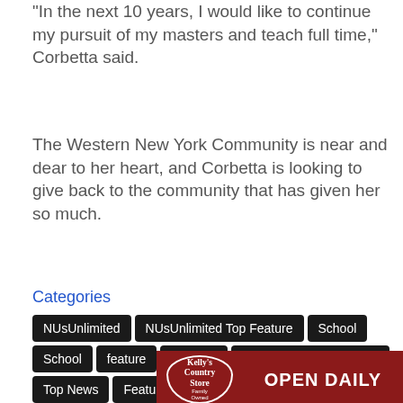"In the next 10 years, I would like to continue my pursuit of my masters and teach full time," Corbetta said.
The Western New York Community is near and dear to her heart, and Corbetta is looking to give back to the community that has given her so much.
Categories
NUsUnlimited
NUsUnlimited Top Feature
School
School feature
Sentinel
Sentinel HP Feature List
Top News Features
[Figure (photo): Kelly's Country Store advertisement — red background with logo and 'OPEN DAILY' text]